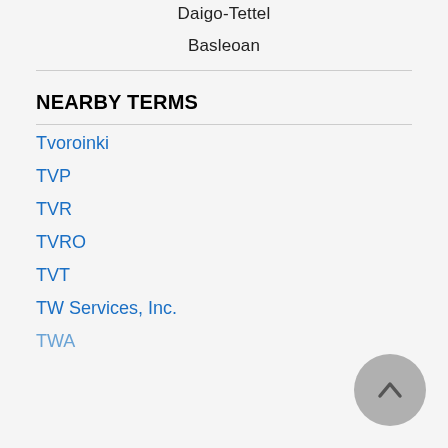Daigo-Tettel
Basleoan
NEARBY TERMS
Tvoroinki
TVP
TVR
TVRO
TVT
TW Services, Inc.
TWA